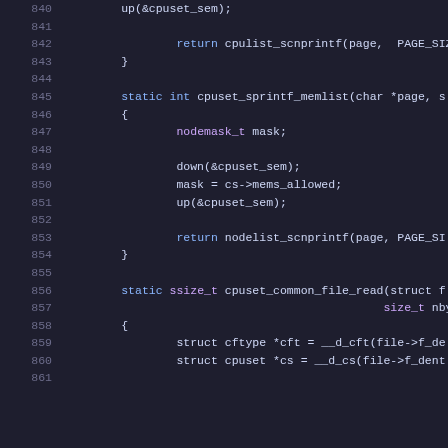[Figure (screenshot): Source code listing showing lines 840-861 of a C source file implementing cpuset functions, displayed in a dark-themed code editor.]